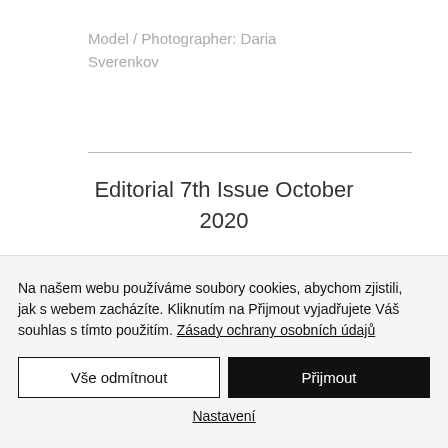Model / Photographer: Daria Sverenkov
Editorial 7th Issue October 2020
Na našem webu používáme soubory cookies, abychom zjistili, jak s webem zacházíte. Kliknutím na Přijmout vyjadřujete Váš souhlas s tímto použitím. Zásady ochrany osobních údajů
Vše odmítnout
Přijmout
Nastavení